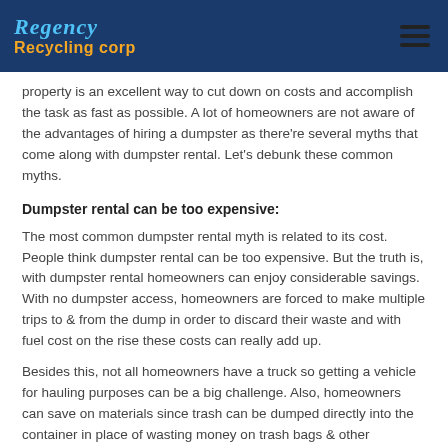Regency Recycling Corp
property is an excellent way to cut down on costs and accomplish the task as fast as possible. A lot of homeowners are not aware of the advantages of hiring a dumpster as there're several myths that come along with dumpster rental. Let's debunk these common myths.
Dumpster rental can be too expensive:
The most common dumpster rental myth is related to its cost. People think dumpster rental can be too expensive. But the truth is, with dumpster rental homeowners can enjoy considerable savings. With no dumpster access, homeowners are forced to make multiple trips to & from the dump in order to discard their waste and with fuel cost on the rise these costs can really add up.
Besides this, not all homeowners have a truck so getting a vehicle for hauling purposes can be a big challenge. Also, homeowners can save on materials since trash can be dumped directly into the container in place of wasting money on trash bags & other materials. When you take all these facts into account, the dumpster rental cost is actually much lower in comparison to other modes of waste removal.